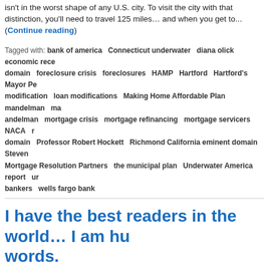isn't in the worst shape of any U.S. city. To visit the city with that distinction, you'll need to travel 125 miles… and when you get to... (Continue reading)
Tagged with: bank of america  Connecticut underwater  diana olick  economic recovery  domain  foreclosure crisis  foreclosures  HAMP  Hartford  Hartford's Mayor Pedro  modification  loan modifications  Making Home Affordable Plan  mandelman  m andelman  mortgage crisis  mortgage refinancing  mortgage servicers  NACA  domain  Professor Robert Hockett  Richmond California eminent domain  Steven Mortgage Resolution Partners  the municipal plan  Underwater America report  undercover bankers  wells fargo bank
I have the best readers in the world… I am humbled by their words.
Written on 7 Jan, 2014 at 8:32
I have the best readers in the world... I am humbled by their words.   Mr. Mart needed f actions and skills as a media spokesman and intermediary to the banking/loan acknowledged and compensated in kind for the work he... (Continue reading)
Tagged with: bank of america  bank of america loan modification mandelman  california rights  citibank  diana olick  economic recovery  economy  Fannie Mae  Federal Bernanke  foreclosure crisis  foreclosures  Freddie Mac  HAMP  jpmorgan chase modification process  loan modifications  Making Home Affordable Plan  mandelman andelman  mortgage crisis  mortgage refinancing  mortgage servicers  NACA  bankers  wells fargo bank
We're Not Stopping the Foreclosure Crisis be Mostly Brown People